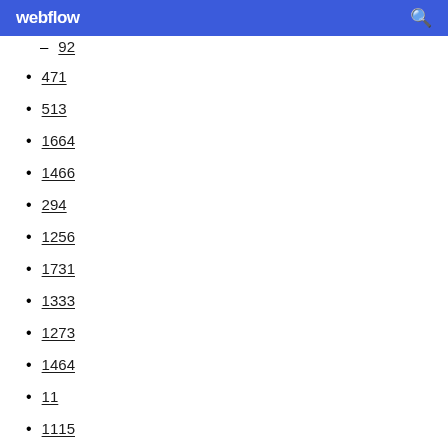webflow
92
471
513
1664
1466
294
1256
1731
1333
1273
1464
11
1115